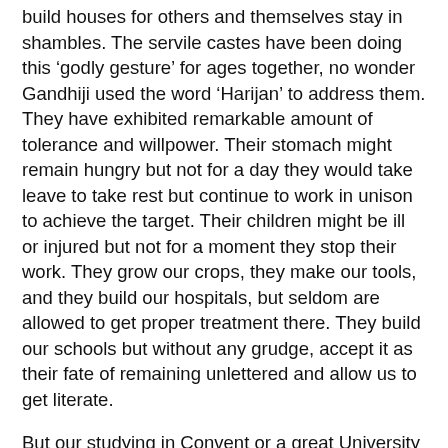build houses for others and themselves stay in shambles. The servile castes have been doing this 'godly gesture' for ages together, no wonder Gandhiji used the word 'Harijan' to address them. They have exhibited remarkable amount of tolerance and willpower. Their stomach might remain hungry but not for a day they would take leave to take rest but continue to work in unison to achieve the target. Their children might be ill or injured but not for a moment they stop their work. They grow our crops, they make our tools, and they build our hospitals, but seldom are allowed to get proper treatment there. They build our schools but without any grudge, accept it as their fate of remaining unlettered and allow us to get literate.
But our studying in Convent or a great University abroad doesn't teach us to be as sacrificing, tolerant and selfless as the so called illiterate, serving castes. The aim of the literates is to get high marks by hook and crook, to prove themselves in the rat race, through a false degree or anyhow get into a prestigious college later on by any means, give a 'religious babu' some amount of bribe so that he can also take his family to a trip to Vaishno Devi in the coming summer vacations of his siblings. But in the rutcourse of getting his goal